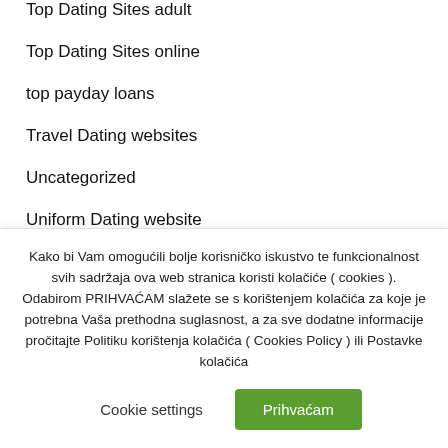Top Dating Sites adult
Top Dating Sites online
top payday loans
Travel Dating websites
Uncategorized
Uniform Dating website
USA sugar daddy apps
Vietnamese Dating adult
Kako bi Vam omogućili bolje korisničko iskustvo te funkcionalnost svih sadržaja ova web stranica koristi kolačiće ( cookies ). Odabirom PRIHVAĆAM slažete se s korištenjem kolačića za koje je potrebna Vaša prethodna suglasnost, a za sve dodatne informacije pročitajte Politiku korištenja kolačića ( Cookies Policy ) ili Postavke kolačića
Cookie settings
Prihvaćam